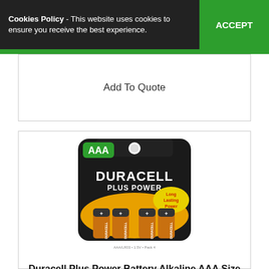Cookies Policy - This website uses cookies to ensure you receive the best experience. ACCEPT
Add To Quote
[Figure (photo): Duracell Plus Power AAA battery 4-pack product packaging photo]
Duracell Plus Power Battery Alkaline AAA Size 1.5V Ref 81275396 Pack 4